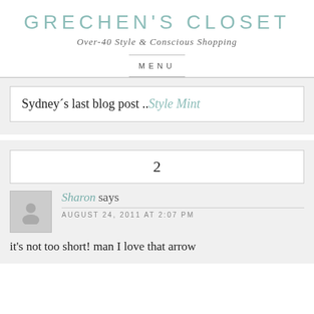GRECHEN'S CLOSET
Over-40 Style & Conscious Shopping
MENU
Sydney´s last blog post ..Style Mint
2
Sharon says
AUGUST 24, 2011 AT 2:07 PM
it's not too short! man I love that arrow